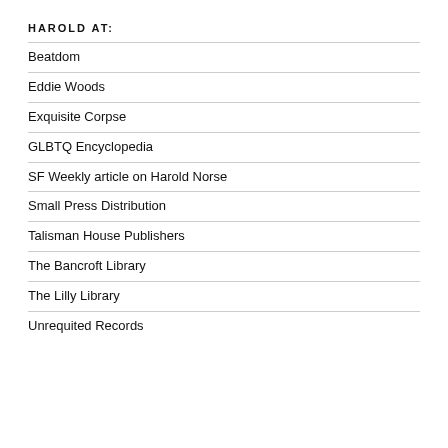HAROLD AT:
Beatdom
Eddie Woods
Exquisite Corpse
GLBTQ Encyclopedia
SF Weekly article on Harold Norse
Small Press Distribution
Talisman House Publishers
The Bancroft Library
The Lilly Library
Unrequited Records